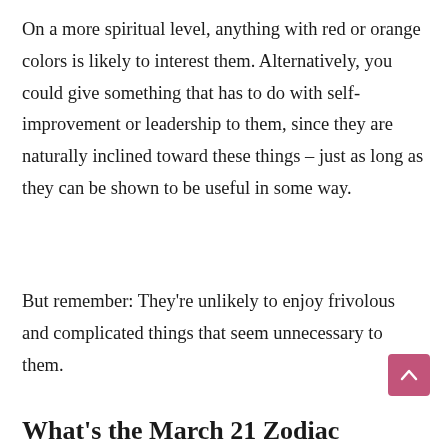On a more spiritual level, anything with red or orange colors is likely to interest them. Alternatively, you could give something that has to do with self-improvement or leadership to them, since they are naturally inclined toward these things – just as long as they can be shown to be useful in some way.
But remember: They're unlikely to enjoy frivolous and complicated things that seem unnecessary to them.
What's the March 21 Zodiac